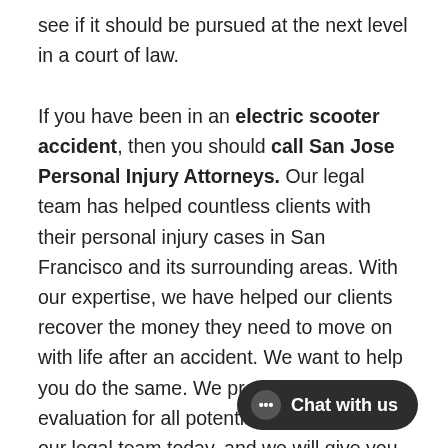see if it should be pursued at the next level in a court of law.

If you have been in an electric scooter accident, then you should call San Jose Personal Injury Attorneys. Our legal team has helped countless clients with their personal injury cases in San Francisco and its surrounding areas. With our expertise, we have helped our clients recover the money they need to move on with life after an accident. We want to help you do the same. We provide a free case evaluation for all potential clients. Contact our legal team today, and we will give you the support you need.
[Figure (other): Chat with us button widget in dark rounded pill shape with chat icon]